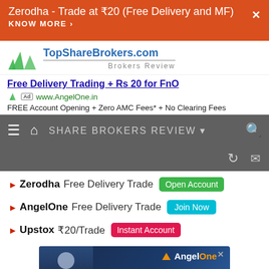Zerodha - Trade at ₹20 (Free Delivery and MF) KNOW MORE ›
[Figure (logo): TopShareBrokers.com logo with green triangle icons and 'Brokers Review' tagline]
Free Delivery Trading + Rs 20 for FnO
Ad www.AngelOne.in
FREE Account Opening + Zero AMC Fees* + No Clearing Fees
SHARE BROKERS REVIEW
► Zerodha Free Delivery Trade Open Account
► AngelOne Free Delivery Trade Join Now
► Upstox ₹20/Trade Instant Account
[Figure (screenshot): AngelOne advertisement banner with person image and 'Join Smart' text]